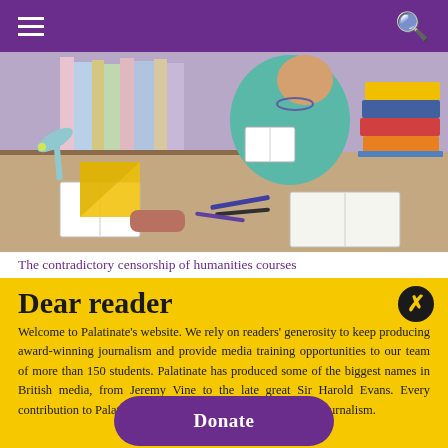≡  🔍
[Figure (illustration): Illustration of a person in teal clothing sitting on a desk surrounded by open books, a desk lamp, stacked colourful books on the right, pencils and a pencil case on the desk surface, with bookshelves in the background.]
The contradictory censorship of humanities courses
Dear reader
Welcome to Palatinate's website. We rely on readers' generosity to keep producing award-winning journalism and provide media training opportunities to our team of more than 150 students. Palatinate has produced some of the biggest names in British media, from Jeremy Vine to the late great Sir Harold Evans. Every contribution to Palatinate is an investment into the future of journalism.
Donate